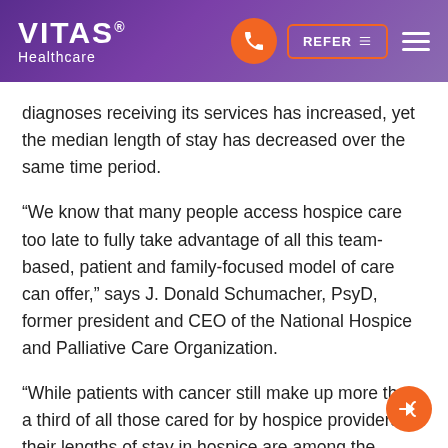VITAS Healthcare — navigation header with phone, refer, and menu buttons
diagnoses receiving its services has increased, yet the median length of stay has decreased over the same time period.
“We know that many people access hospice care too late to fully take advantage of all this team-based, patient and family-focused model of care can offer,” says J. Donald Schumacher, PsyD, former president and CEO of the National Hospice and Palliative Care Organization.
“While patients with cancer still make up more than a third of all those cared for by hospice providers, their lengths of stay in hospice are among the shortest. This points to the desperate need for clinicians treating cancer to have conversations about palliative care and hospice.”